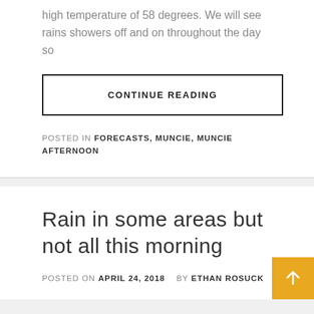high temperature of 58 degrees. We will see rains showers off and on throughout the day so
CONTINUE READING
POSTED IN FORECASTS, MUNCIE, MUNCIE AFTERNOON
Rain in some areas but not all this morning
POSTED ON APRIL 24, 2018  BY ETHAN ROSUCK